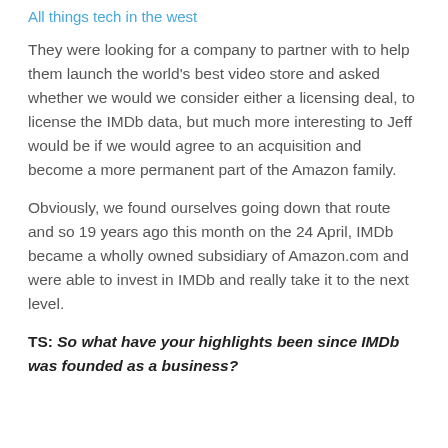All things tech in the west
They were looking for a company to partner with to help them launch the world's best video store and asked whether we would we consider either a licensing deal, to license the IMDb data, but much more interesting to Jeff would be if we would agree to an acquisition and become a more permanent part of the Amazon family.
Obviously, we found ourselves going down that route and so 19 years ago this month on the 24 April, IMDb became a wholly owned subsidiary of Amazon.com and were able to invest in IMDb and really take it to the next level.
TS: So what have your highlights been since IMDb was founded as a business?